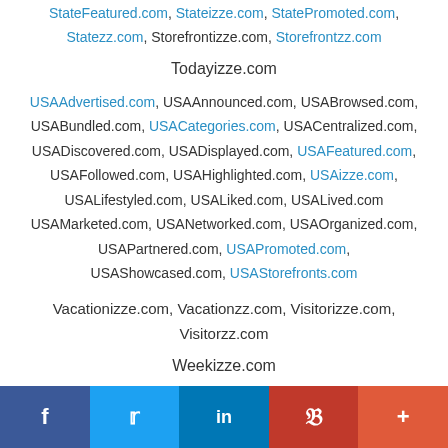StateFeatured.com, Stateizze.com, StatePromoted.com, Statezz.com, Storefrontizze.com, Storefrontzz.com
Todayizze.com
USAAdvertised.com, USAAnnounced.com, USABrowsed.com, USABundled.com, USACategories.com, USACentralized.com, USADiscovered.com, USADisplayed.com, USAFeatured.com, USAFollowed.com, USAHighlighted.com, USAizze.com, USALifestyled.com, USALiked.com, USALived.com USAMarketed.com, USANetworked.com, USAOrganized.com, USAPartnered.com, USAPromoted.com, USAShowcased.com, USAStorefronts.com
Vacationizze.com, Vacationzz.com, Visitorizze.com, Visitorzz.com
Weekizze.com
[Figure (infographic): Social media share bar with Facebook, Twitter, LinkedIn, Pinterest, and More buttons]